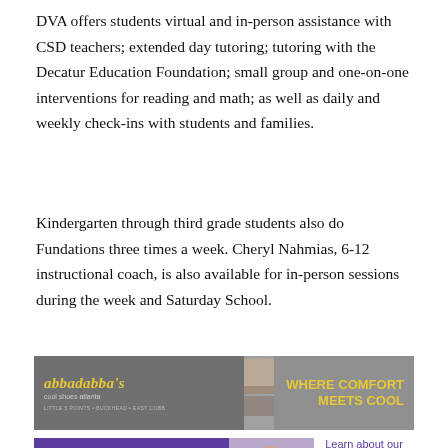DVA offers students virtual and in-person assistance with CSD teachers; extended day tutoring; tutoring with the Decatur Education Foundation; small group and one-on-one interventions for reading and math; as well as daily and weekly check-ins with students and families.
Kindergarten through third grade students also do Fundations three times a week. Cheryl Nahmias, 6-12 instructional coach, is also available for in-person sessions during the week and Saturday School.
[Figure (illustration): Advertisement for abbadabba's cool shoes atlanta. Left side shows logo text 'abbadabba's cool shoes atlanta' with locations 'LITTLE 5 POINTS • BUCKHEAD • EAST COBB'. Right side shows photo of sandals being worn with yellow text 'WHERE COMFORT MEETS COOL' on grey background.]
[Figure (illustration): Advertisement for Agnes Scott College. Left purple section reads 'Lead with compassion' and 'AGNES SCOTT COLLEGE'. Center shows photo of woman. Right white section reads 'Learn about our MA in Clinical Mental Health Counseling' in purple text.]